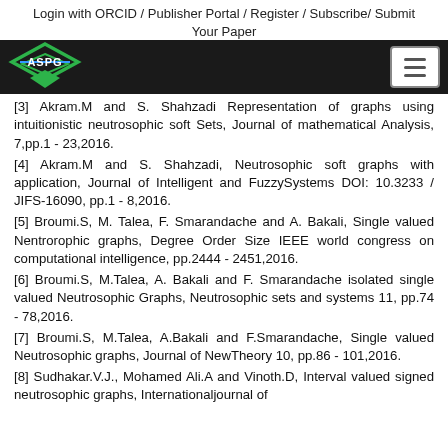Login with ORCID / Publisher Portal / Register / Subscribe/ Submit Your Paper
[3] Akram.M and S. Shahzadi Representation of graphs using intuitionistic neutrosophic soft Sets, Journal of mathematical Analysis, 7,pp.1 - 23,2016.
[4] Akram.M and S. Shahzadi, Neutrosophic soft graphs with application, Journal of Intelligent and FuzzySystems DOI: 10.3233 / JIFS-16090, pp.1 - 8,2016.
[5] Broumi.S, M. Talea, F. Smarandache and A. Bakali, Single valued Nentrorophic graphs, Degree Order Size IEEE world congress on computational intelligence, pp.2444 - 2451,2016.
[6] Broumi.S, M.Talea, A. Bakali and F. Smarandache isolated single valued Neutrosophic Graphs, Neutrosophic sets and systems 11, pp.74 - 78,2016.
[7] Broumi.S, M.Talea, A.Bakali and F.Smarandache, Single valued Neutrosophic graphs, Journal of NewTheory 10, pp.86 - 101,2016.
[8] Sudhakar.V.J., Mohamed Ali.A and Vinoth.D, Interval valued signed neutrosophic graphs, Internationaljournal of...